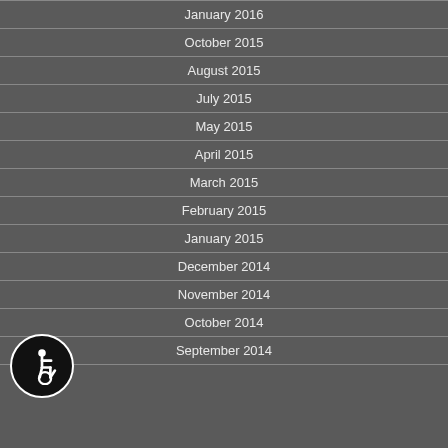January 2016
October 2015
August 2015
July 2015
May 2015
April 2015
March 2015
February 2015
January 2015
December 2014
November 2014
October 2014
September 2014
[Figure (illustration): Wheelchair accessibility icon — white figure in wheelchair on black circle with white border]